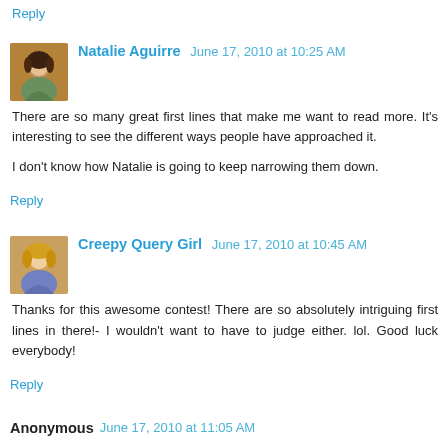Reply
Natalie Aguirre  June 17, 2010 at 10:25 AM
There are so many great first lines that make me want to read more. It's interesting to see the different ways people have approached it.

I don't know how Natalie is going to keep narrowing them down.
Reply
Creepy Query Girl  June 17, 2010 at 10:45 AM
Thanks for this awesome contest! There are so absolutely intriguing first lines in there!- I wouldn't want to have to judge either. lol. Good luck everybody!
Reply
Anonymous  June 17, 2010 at 11:05 AM